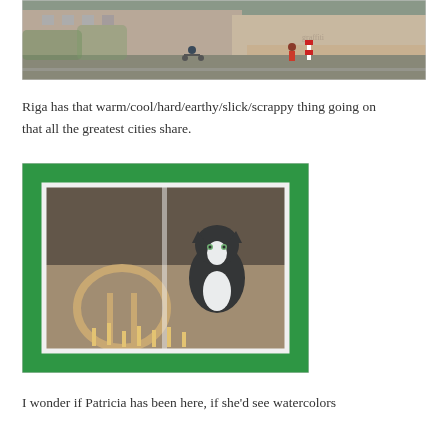[Figure (photo): Street scene in Riga showing cyclists and pedestrians on a road with graffiti-covered buildings in the background]
Riga has that warm/cool/hard/earthy/slick/scrappy thing going on that all the greatest cities share.
[Figure (photo): A cat sitting in a green-framed window of a building, with a wooden chair visible inside]
I wonder if Patricia has been here, if she'd see watercolors